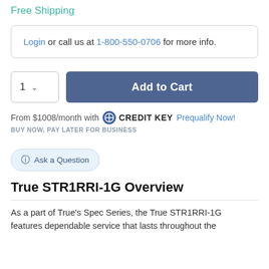Free Shipping
Login or call us at 1-800-550-0706 for more info.
1  ∨   Add to Cart
From $1008/month with CREDIT KEY  Prequalify Now!
BUY NOW, PAY LATER FOR BUSINESS
Ask a Question
True STR1RRI-1G Overview
As a part of True's Spec Series, the True STR1RRI-1G features dependable service that lasts throughout the